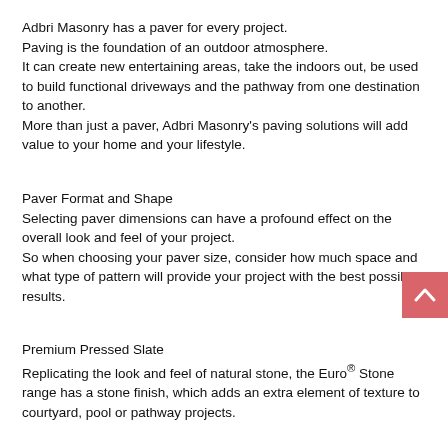Adbri Masonry has a paver for every project.
Paving is the foundation of an outdoor atmosphere.
It can create new entertaining areas, take the indoors out, be used to build functional driveways and the pathway from one destination to another.
More than just a paver, Adbri Masonry's paving solutions will add value to your home and your lifestyle.
Paver Format and Shape
Selecting paver dimensions can have a profound effect on the overall look and feel of your project.
So when choosing your paver size, consider how much space and what type of pattern will provide your project with the best possible results.
Premium Pressed Slate
Replicating the look and feel of natural stone, the Euro® Stone range has a stone finish, which adds an extra element of texture to courtyard, pool or pathway projects.